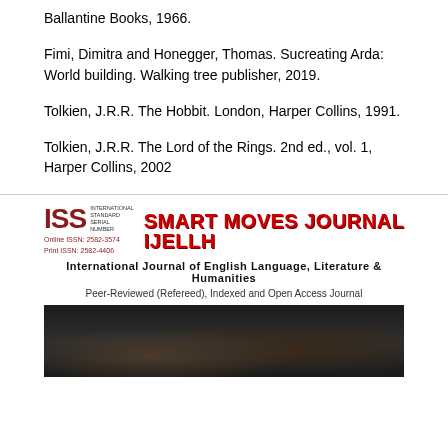Ballantine Books, 1966.
Fimi, Dimitra and Honegger, Thomas. Sucreating Arda: World building. Walking tree publisher, 2019.
Tolkien, J.R.R. The Hobbit. London, Harper Collins, 1991.
Tolkien, J.R.R. The Lord of the Rings. 2nd ed., vol. 1, Harper Collins, 2002
[Figure (logo): Smart Moves Journal IJELLH logo with ISSN numbers: Online ISSN: 2582-3574, Print ISSN: 2582-4406. International Journal of English Language, Literature & Humanities. Peer-Reviewed (Refereed), Indexed and Open Access Journal.]
[Figure (photo): Dark photograph showing a hand writing, representing academic or journal activity.]